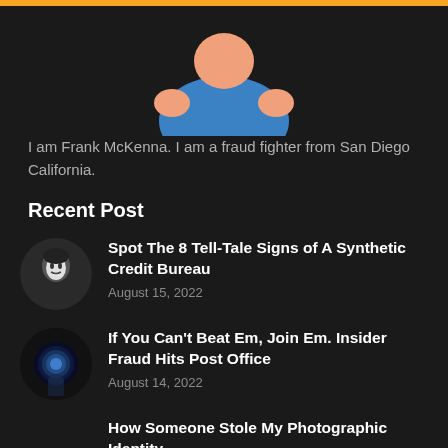[Figure (illustration): Cartoon illustration of a person with arms crossed wearing a blue shirt, partially cropped at top of page]
I am Frank McKenna. I am a fraud fighter from San Diego California.
Recent Post
[Figure (photo): Circular thumbnail of a person wearing a white mask]
Spot The 8 Tell-Tale Signs of A Synthetic Credit Bureau
August 15, 2022
[Figure (photo): Circular thumbnail showing a dark hacker/tech themed image]
If You Can't Beat Em, Join Em. Insider Fraud Hits Post Office
August 14, 2022
[Figure (photo): Circular thumbnail showing hands and a document, identity theft theme]
How Someone Stole My Photographic Identity
August 12, 2022